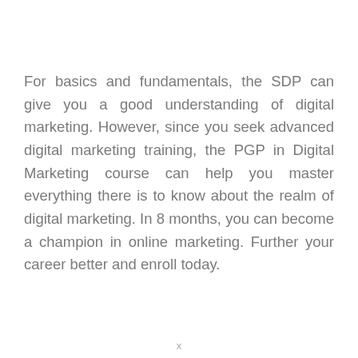For basics and fundamentals, the SDP can give you a good understanding of digital marketing. However, since you seek advanced digital marketing training, the PGP in Digital Marketing course can help you master everything there is to know about the realm of digital marketing. In 8 months, you can become a champion in online marketing. Further your career better and enroll today.
x